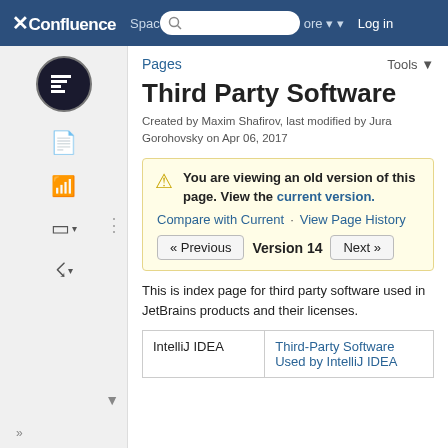X Confluence  Spaces  (search)  More  Log in
Pages   Tools
Third Party Software
Created by Maxim Shafirov, last modified by Jura Gorohovsky on Apr 06, 2017
You are viewing an old version of this page. View the current version.
Compare with Current · View Page History
« Previous   Version 14   Next »
This is index page for third party software used in JetBrains products and their licenses.
| IntelliJ IDEA | Third-Party Software Used by IntelliJ IDEA |
| --- | --- |
| IntelliJ IDEA | Third-Party Software Used by IntelliJ IDEA |